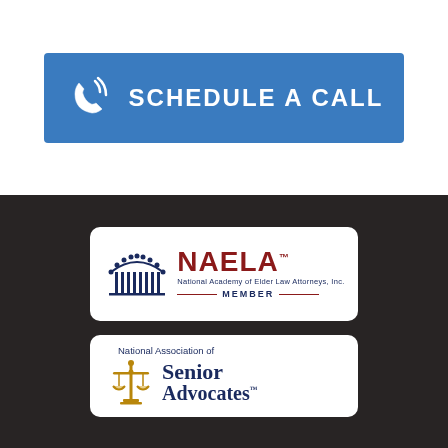[Figure (infographic): Blue call-to-action button with phone icon and text SCHEDULE A CALL]
[Figure (logo): NAELA - National Academy of Elder Law Attorneys, Inc. MEMBER badge on white card with dark background]
[Figure (logo): National Association of Senior Advocates logo on white card with scales of justice icon and dark background]